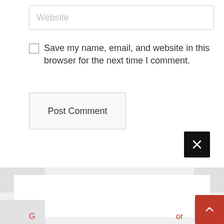Website (placeholder input field)
Save my name, email, and website in this browser for the next time I comment.
Post Comment
[Figure (other): Black square close/dismiss button with white X icon]
[Figure (other): Red scroll-to-top button with white chevron/caret up arrow]
G
or